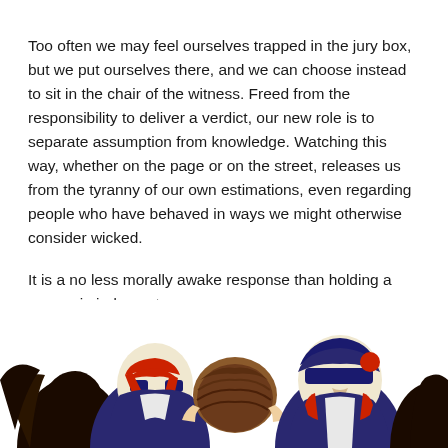Too often we may feel ourselves trapped in the jury box, but we put ourselves there, and we can choose instead to sit in the chair of the witness. Freed from the responsibility to deliver a verdict, our new role is to separate assumption from knowledge. Watching this way, whether on the page or on the street, releases us from the tyranny of our own estimations, even regarding people who have behaved in ways we might otherwise consider wicked.
It is a no less morally awake response than holding a person in judgment.
–Salvatore Scibona
[Figure (illustration): A colorful graphic illustration of multiple stylized figures/heads in profile, rendered in red, blue, black, and white, depicting what appear to be masked or costumed characters pressed together.]